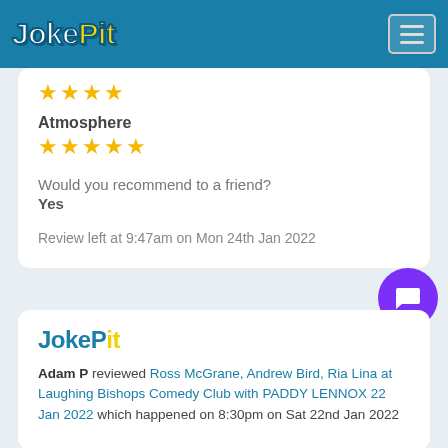JokePit
[Figure (other): 5 gold stars rating]
Atmosphere
[Figure (other): 5 gold stars rating for Atmosphere]
Would you recommend to a friend?
Yes
Review left at 9:47am on Mon 24th Jan 2022
[Figure (logo): JokePit logo in card 2]
Adam P reviewed Ross McGrane, Andrew Bird, Ria Lina at Laughing Bishops Comedy Club with PADDY LENNOX 22 Jan 2022 which happened on 8:30pm on Sat 22nd Jan 2022